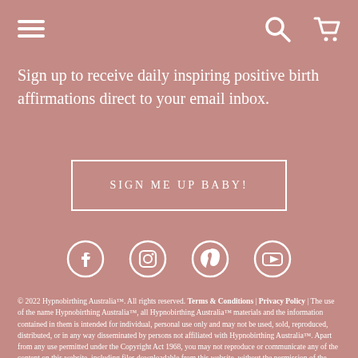[Navigation icons: menu, search, cart]
Sign up to receive daily inspiring positive birth affirmations direct to your email inbox.
SIGN ME UP BABY!
[Figure (infographic): Four social media icons: Facebook, Instagram, Pinterest, YouTube]
© 2022 Hypnobirthing Australia™. All rights reserved. Terms & Conditions | Privacy Policy | The use of the name Hypnobirthing Australia™, all Hypnobirthing Australia™ materials and the information contained in them is intended for individual, personal use only and may not be used, sold, reproduced, distributed, or in any way disseminated by persons not affiliated with Hypnobirthing Australia™. Apart from any use permitted under the Copyright Act 1968, you may not reproduce or communicate any of the content on this website, including files downloadable from this website, without the permission of the